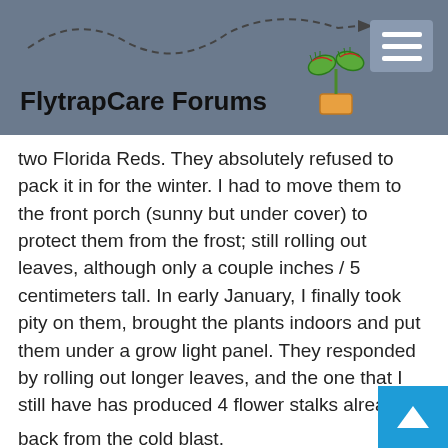FlytrapCare Forums
two Florida Reds. They absolutely refused to pack it in for the winter. I had to move them to the front porch (sunny but under cover) to protect them from the frost; still rolling out leaves, although only a couple inches / 5 centimeters tall. In early January, I finally took pity on them, brought the plants indoors and put them under a grow light panel. They responded by rolling out longer leaves, and the one that I still have has produced 4 flower stalks already.

I'm glad to see that Hang's plant has bounced back from the cold blast.